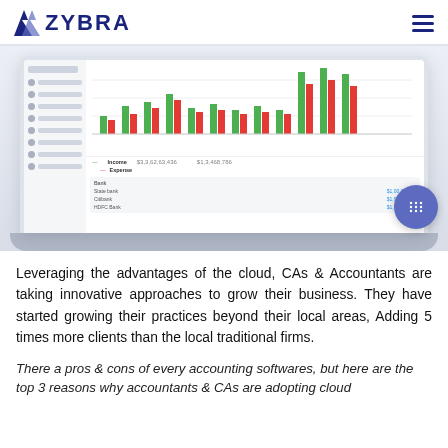ZYBRA
[Figure (screenshot): Screenshot of Zybra accounting software on a laptop showing a bar chart with green and red bars representing income and expense data across multiple months, with a sidebar navigation menu on the left and data tables below the chart.]
Leveraging the advantages of the cloud, CAs & Accountants are taking innovative approaches to grow their business. They have started growing their practices beyond their local areas, Adding 5 times more clients than the local traditional firms.
There a pros & cons of every accounting softwares, but here are the top 3 reasons why accountants & CAs are adopting cloud